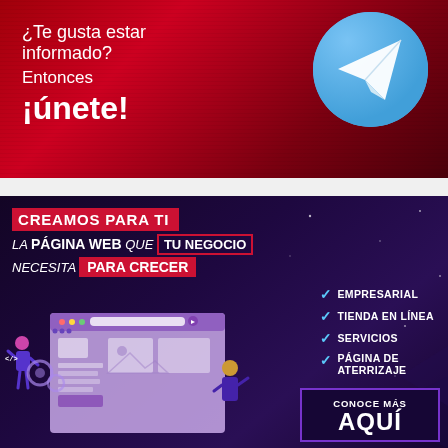[Figure (infographic): Red banner with Telegram icon. Text: '¿Te gusta estar informado? Entonces ¡únete!']
[Figure (infographic): Dark purple/violet web agency advertisement. Headline: 'CREAMOS PARA TI LA PÁGINA WEB QUE TU NEGOCIO NECESITA PARA CRECER'. Checklist: EMPRESARIAL, TIENDA EN LÍNEA, SERVICIOS, PÁGINA DE ATERRIZAJE. Button: CONOCE MÁS AQUÍ. Illustration of web design characters.]